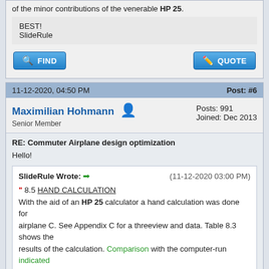of the minor contributions of the venerable HP 25.
BEST!
SlideRule
11-12-2020, 04:50 PM
Post: #6
Maximilian Hohmann
Senior Member
Posts: 991
Joined: Dec 2013
RE: Commuter Airplane design optimization
Hello!
SlideRule Wrote: ➡ (11-12-2020 03:00 PM)
" 8.5 HAND CALCULATION
With the aid of an HP 25 calculator a hand calculation was done for airplane C. See Appendix C for a threeview and data. Table 8.3 shows the results of the calculation. Comparison with the computer-run indicated perfect agreement. "